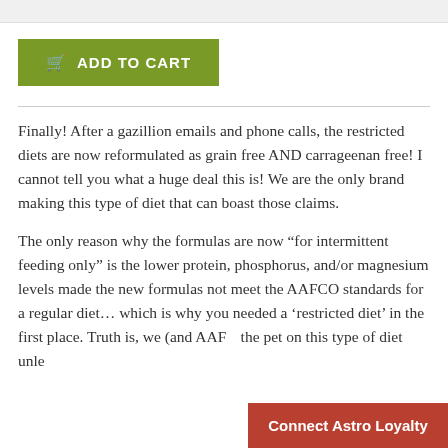[Figure (other): Top gray decorative bar]
ADD TO CART
Finally! After a gazillion emails and phone calls, the restricted diets are now reformulated as grain free AND carrageenan free! I cannot tell you what a huge deal this is! We are the only brand making this type of diet that can boast those claims.
The only reason why the formulas are now “for intermittent feeding only” is the lower protein, phosphorus, and/or magnesium levels made the new formulas not meet the AAFCO standards for a regular diet… which is why you needed a ‘restricted diet’ in the first place. Truth is, we (and AAF the pet on this type of diet unle
Connect Astro Loyalty